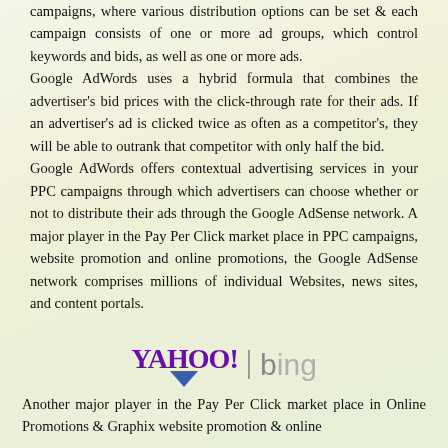campaigns, where various distribution options can be set & each campaign consists of one or more ad groups, which control keywords and bids, as well as one or more ads.
Google AdWords uses a hybrid formula that combines the advertiser's bid prices with the click-through rate for their ads. If an advertiser's ad is clicked twice as often as a competitor's, they will be able to outrank that competitor with only half the bid.
Google AdWords offers contextual advertising services in your PPC campaigns through which advertisers can choose whether or not to distribute their ads through the Google AdSense network. A major player in the Pay Per Click market place in PPC campaigns, website promotion and online promotions, the Google AdSense network comprises millions of individual Websites, news sites, and content portals.
[Figure (logo): Yahoo! and Bing logos side by side with a vertical divider bar. Yahoo! logo in purple with a blue downward-pointing triangle beneath it. Bing logo in grey.]
Another major player in the Pay Per Click market place in Online Promotions & Graphix website promotion & online